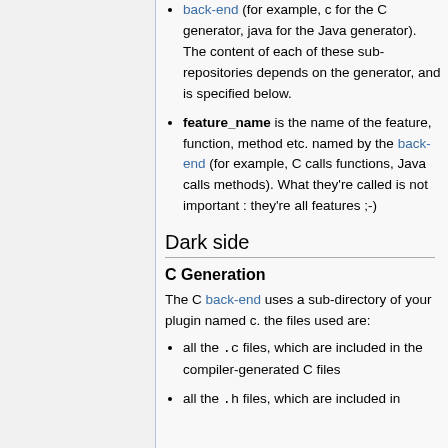back-end (for example, c for the C generator, java for the Java generator). The content of each of these sub-repositories depends on the generator, and is specified below.
feature_name is the name of the feature, function, method etc. named by the back-end (for example, C calls functions, Java calls methods). What they're called is not important : they're all features ;-)
Dark side
C Generation
The C back-end uses a sub-directory of your plugin named c. the files used are:
all the .c files, which are included in the compiler-generated C files
all the .h files, which are included in